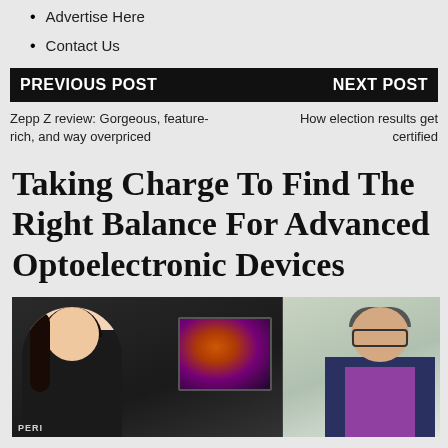Advertise Here
Contact Us
PREVIOUS POST    NEXT POST
Zepp Z review: Gorgeous, feature-rich, and way overpriced    How election results get certified
Taking Charge To Find The Right Balance For Advanced Optoelectronic Devices
[Figure (photo): Two researchers in a lab setting: a young woman on the left standing near a thermal imaging camera, and an older man on the right wearing glasses and a blue jacket.]